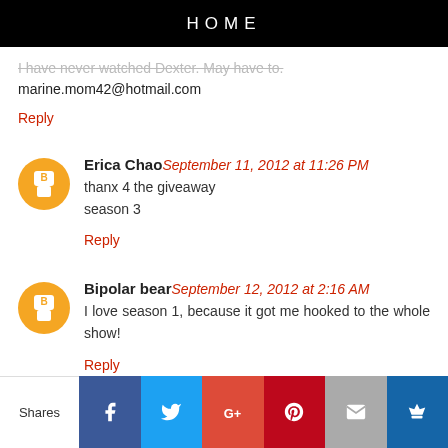HOME
I have never watched Dexter. May have to.
marine.mom42@hotmail.com
Reply
Erica Chao September 11, 2012 at 11:26 PM
thanx 4 the giveaway
season 3
Reply
Bipolar bear September 12, 2012 at 2:16 AM
I love season 1, because it got me hooked to the whole show!
Reply
sexycaddy71406 September 12, 2012 at 4:26 AM
Shares | Facebook | Twitter | G+ | Pinterest | Email | Crown